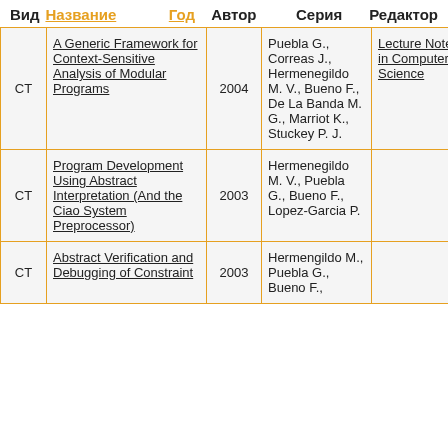| Вид | Название | Год | Автор | Серия | Редактор |
| --- | --- | --- | --- | --- | --- |
| CT | A Generic Framework for Context-Sensitive Analysis of Modular Programs | 2004 | Puebla G., Correas J., Hermenegildo M. V., Bueno F., De La Banda M. G., Marriot K., Stuckey P. J. | Lecture Notes in Computer Science |  |
| CT | Program Development Using Abstract Interpretation (And the Ciao System Preprocessor) | 2003 | Hermenegildo M. V., Puebla G., Bueno F., Lopez-Garcia P. |  |  |
| CT | Abstract Verification and Debugging of Constraint | 2003 | Hermengildo M., Puebla G., Bueno F., |  |  |